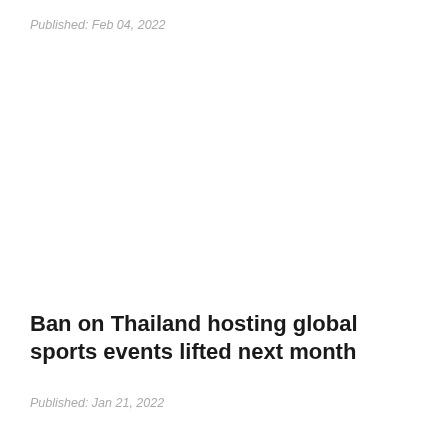Published: Feb 04, 2022
Ban on Thailand hosting global sports events lifted next month
Published: Jan 21, 2022